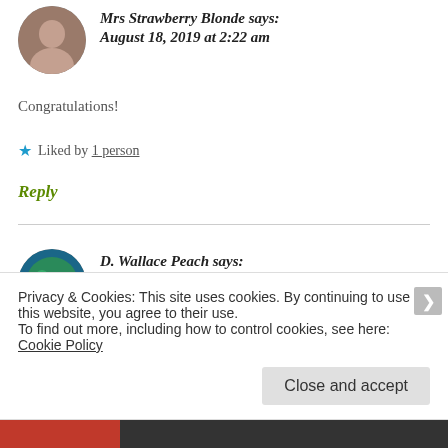Mrs Strawberry Blonde says: August 18, 2019 at 2:22 am
Congratulations!
★ Liked by 1 person
Reply
D. Wallace Peach says: August 18, 2019 at 5:43 pm
Privacy & Cookies: This site uses cookies. By continuing to use this website, you agree to their use.
To find out more, including how to control cookies, see here: Cookie Policy
Close and accept